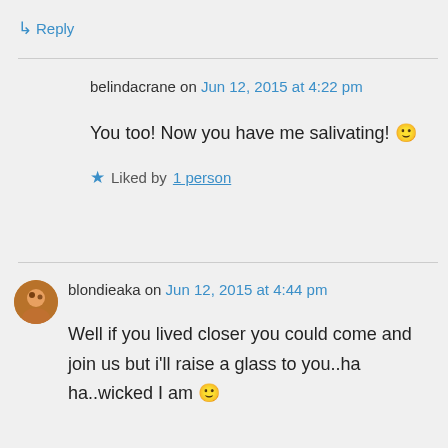↳ Reply
belindacrane on Jun 12, 2015 at 4:22 pm
You too! Now you have me salivating! 🙂
★ Liked by 1 person
blondieaka on Jun 12, 2015 at 4:44 pm
Well if you lived closer you could come and join us but i'll raise a glass to you..ha ha..wicked I am 🙂